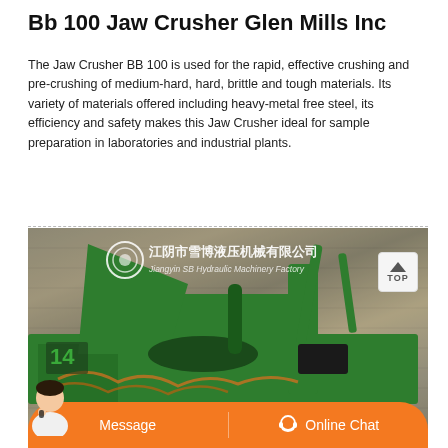Bb 100 Jaw Crusher Glen Mills Inc
The Jaw Crusher BB 100 is used for the rapid, effective crushing and pre-crushing of medium-hard, hard, brittle and tough materials. Its variety of materials offered including heavy-metal free steel, its efficiency and safety makes this Jaw Crusher ideal for sample preparation in laboratories and industrial plants.
[Figure (photo): Photo of a green jaw crusher machine (resembling a large industrial hydraulic baler/crusher) in a workshop or factory setting with brick walls. The machine is green-colored. A Chinese company logo and text appears in the upper portion: 江阴市雪博液压机械有限公司 / Jiangyin SB Hydraulic Machinery Factory. A 'TOP' navigation button appears in upper right of the image. At the bottom of the image is an orange chat bar with a woman avatar on the left, a 'Message' button on the left half, and 'Online Chat' with a headset icon on the right half.]